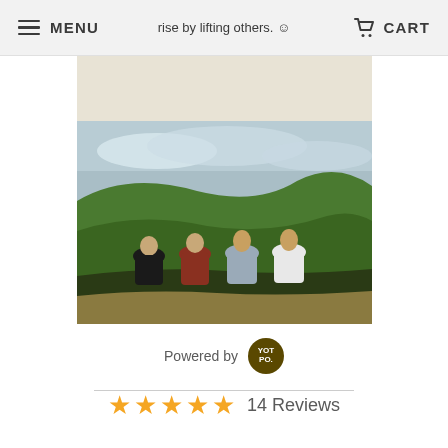MENU  rise by lifting others.  CART
[Figure (photo): Four young men sitting on a hillside with green mountains and cloudy sky in the background, viewed from behind]
Powered by YOTPO
14 Reviews